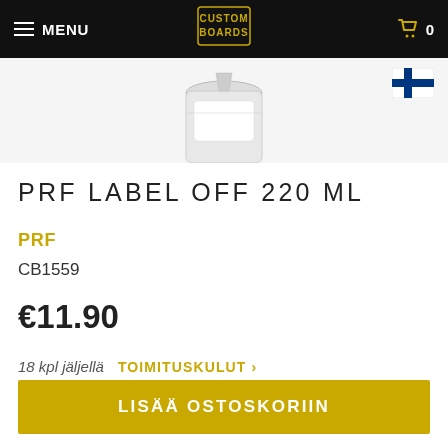MENU | Custom Boards logo | Cart 0
[Figure (photo): Partial product image of PRF Label Off 220ml canister, top portion visible]
[Figure (illustration): Finnish flag icon (blue cross on white background)]
PRF LABEL OFF 220 ML
PRF
CB1559
€11.90
18 kpl jäljellä   TOIMITUSKULUT >
LISÄÄ OSTOSKORIIN